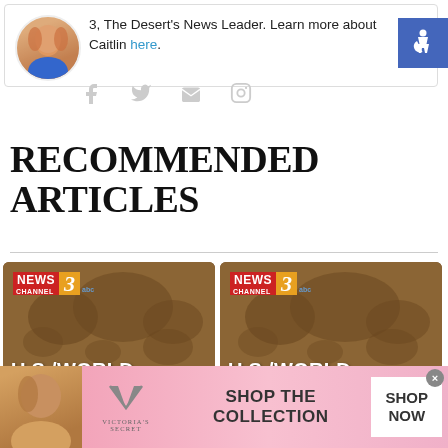3, The Desert's News Leader. Learn more about Caitlin here.
[Figure (photo): Circular profile photo of a woman with red hair wearing a blue top]
[Figure (illustration): Accessibility icon button (blue square with wheelchair symbol)]
[Figure (illustration): Social media icons row: Facebook, Twitter, Email, Instagram]
RECOMMENDED ARTICLES
[Figure (photo): News Channel 3 ABC U.S./World article thumbnail with world map background]
[Figure (photo): News Channel 3 ABC U.S./World article thumbnail with world map background]
[Figure (advertisement): Victoria's Secret advertisement banner: Shop The Collection - Shop Now]